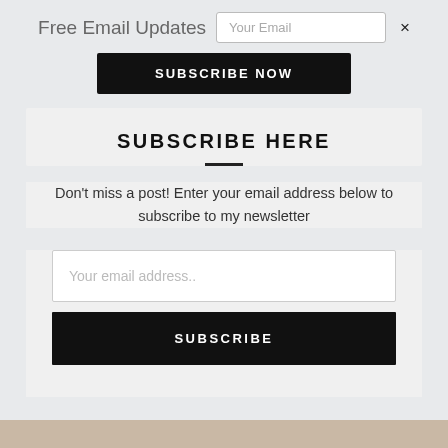Free Email Updates
Your Email
×
SUBSCRIBE NOW
SUBSCRIBE HERE
Don't miss a post! Enter your email address below to subscribe to my newsletter
Your email address..
SUBSCRIBE